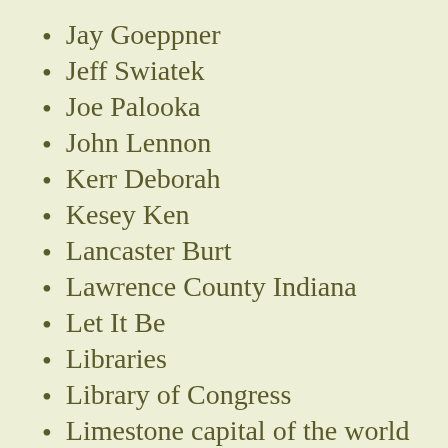Jay Goeppner
Jeff Swiatek
Joe Palooka
John Lennon
Kerr Deborah
Kesey Ken
Lancaster Burt
Lawrence County Indiana
Let It Be
Libraries
Library of Congress
Limestone capital of the world